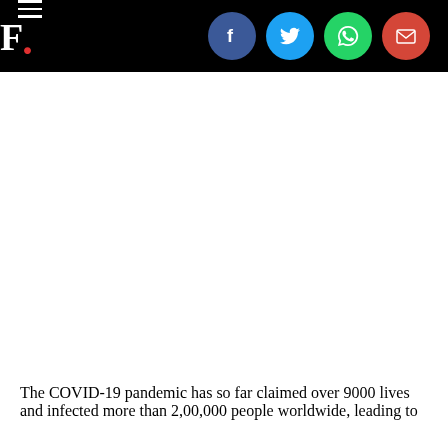F.
The COVID-19 pandemic has so far claimed over 9000 lives and infected more than 2,00,000 people worldwide, leading to